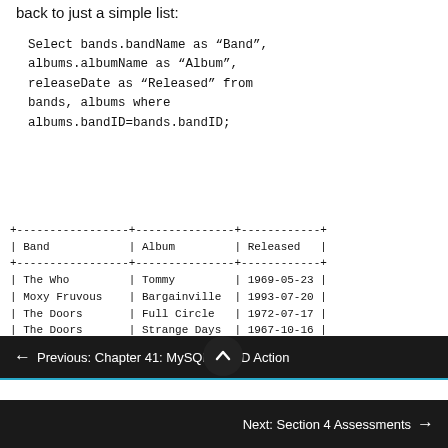back to just a simple list:
| Band | Album | Released |
| --- | --- | --- |
| The Who | Tommy | 1969-05-23 |
| Moxy Fruvous | Bargainville | 1993-07-20 |
| The Doors | Full Circle | 1972-07-17 |
| The Doors | Strange Days | 1967-10-16 |
← Previous: Chapter 41: MySQL CRUD Action
Next: Section 4 Assessments →